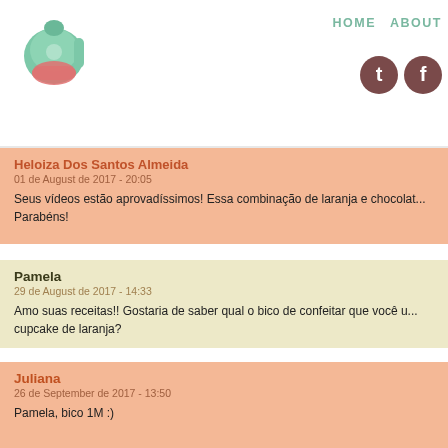HOME  ABOUT
[Figure (logo): Green kitchen mixer logo]
Heloiza Dos Santos Almeida
01 de August de 2017 - 20:05
Seus vídeos estão aprovadíssimos! Essa combinação de laranja e chocolat... Parabéns!
Pamela
29 de August de 2017 - 14:33
Amo suas receitas!! Gostaria de saber qual o bico de confeitar que você u... cupcake de laranja?
Juliana
26 de September de 2017 - 13:50
Pamela, bico 1M :)
Camila
30 de August de 2017 - 14:36